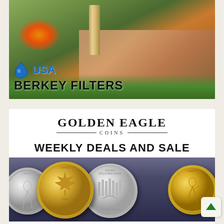[Figure (photo): USA Berkey Filters advertisement showing a person operating a stainless steel gravity water filter outdoors near a fire, with blue water drop logo and bold text 'USA BERKEY FILTERS']
[Figure (photo): Golden Eagle Coins advertisement with logo, text 'WEEKLY DEALS AND SALE', and display of silver and gold coins including American Silver Eagle, Canadian Gold Maple Leaf, Wiener Philharmoniker, and American Gold Eagle]